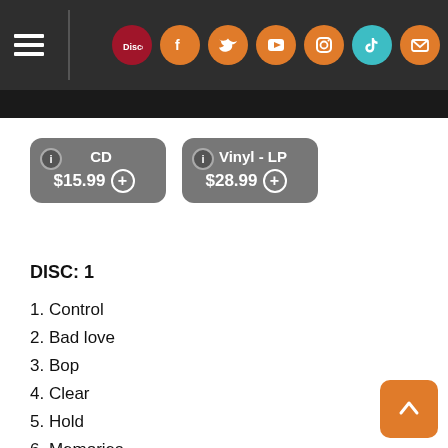Navigation header with Discogs, Facebook, Twitter, YouTube, Instagram, TikTok, Email icons
CD $15.99 | Vinyl - LP $28.99
DISC: 1
1. Control
2. Bad love
3. Bop
4. Clear
5. Hold
6. Memories
7. Window
8. Palomino
9. Waterfall
10. Dream On
11. Empty In My Mind
12. Stars